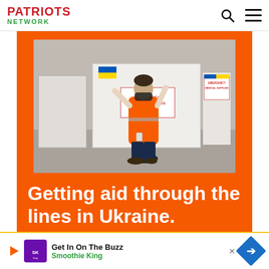PATRIOTS NETWORK
[Figure (photo): Person in orange high-visibility vest and face mask kneeling next to pallets of emergency medical supplies wrapped in plastic with Ukrainian flag colors. Boxes are labeled 'Emergency Medical Supplies'.]
Getting aid through the lines in Ukraine.
Get In On The Buzz
Smoothie King